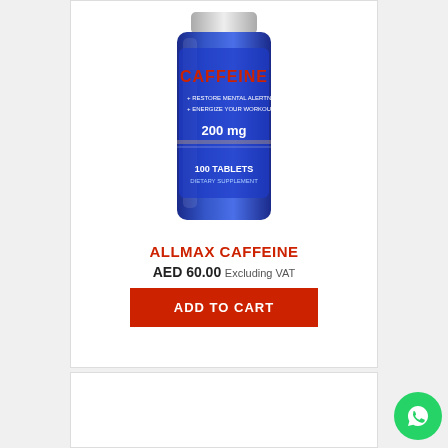[Figure (photo): ALLMAX Caffeine supplement bottle, blue label, 200mg, 100 tablets dietary supplement]
ALLMAX CAFFEINE
AED 60.00 Excluding VAT
ADD TO CART
[Figure (photo): WhatsApp contact button icon (green circle with phone icon)]